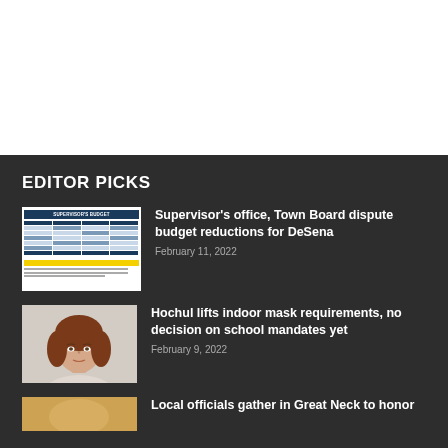EDITOR PICKS
[Figure (photo): Thumbnail image of Supervisor's Budget document showing a table with budget figures and a yellow highlighted row]
Supervisor's office, Town Board dispute budget reductions for DeSena
February 11, 2022
[Figure (photo): Headshot photo of a woman with reddish-brown hair against a light background]
Hochul lifts indoor mask requirements, no decision on school mandates yet
February 9, 2022
[Figure (photo): Partial thumbnail showing a warm-toned image, partially cut off at page bottom]
Local officials gather in Great Neck to honor